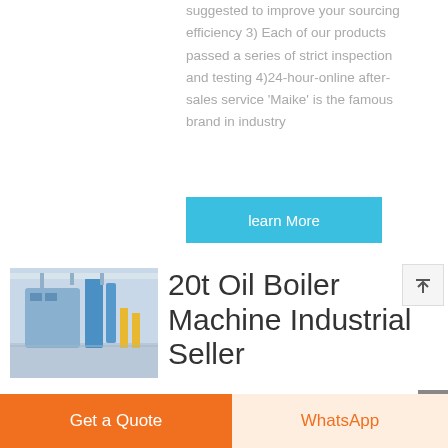suggested to improve your sourcing efficiency 3) Each of our products passed a series of strict inspection and testing 4)24-hour-online after-sales service 'Maike' is the famous brand in industry
learn More
[Figure (photo): Industrial boiler machine photo showing blue and yellow machinery in a factory setting]
20t Oil Boiler Machine Industrial Seller
Get a Quote
WhatsApp